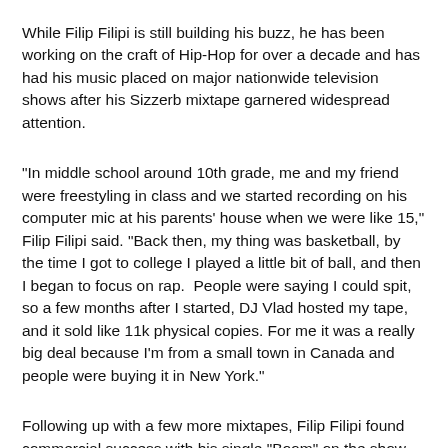While Filip Filipi is still building his buzz, he has been working on the craft of Hip-Hop for over a decade and has had his music placed on major nationwide television shows after his Sizzerb mixtape garnered widespread attention.
"In middle school around 10th grade, me and my friend were freestyling in class and we started recording on his computer mic at his parents' house when we were like 15," Filip Filipi said. "Back then, my thing was basketball, by the time I got to college I played a little bit of ball, and then I began to focus on rap.  People were saying I could spit, so a few months after I started, DJ Vlad hosted my tape, and it sold like 11k physical copies. For me it was a really big deal because I'm from a small town in Canada and people were buying it in New York."
Following up with a few more mixtapes, Filip Filipi found commercial success with his single "Boom" on the show So